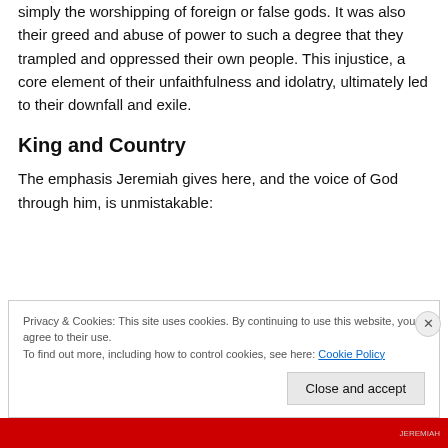simply the worshipping of foreign or false gods. It was also their greed and abuse of power to such a degree that they trampled and oppressed their own people. This injustice, a core element of their unfaithfulness and idolatry, ultimately led to their downfall and exile.
King and Country
The emphasis Jeremiah gives here, and the voice of God through him, is unmistakable:
Privacy & Cookies: This site uses cookies. By continuing to use this website, you agree to their use.
To find out more, including how to control cookies, see here: Cookie Policy